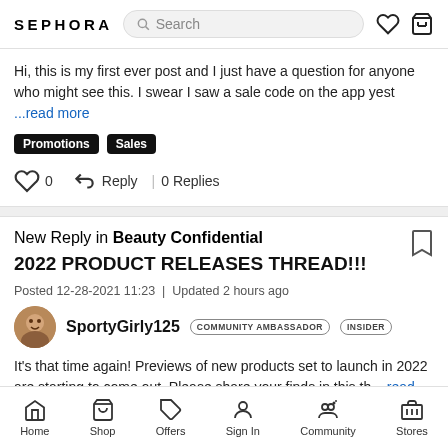SEPHORA — Search bar with heart and bag icons
Hi, this is my first ever post and I just have a question for anyone who might see this. I swear I saw a sale code on the app yest ...read more
Promotions
Sales
0 | Reply | 0 Replies
New Reply in Beauty Confidential
2022 PRODUCT RELEASES THREAD!!!
Posted 12-28-2021 11:23 | Updated 2 hours ago
SportyGirly125 COMMUNITY AMBASSADOR INSIDER
It's that time again! Previews of new products set to launch in 2022 are starting to come out. Please share your finds in this th ...read more
Home | Shop | Offers | Sign In | Community | Stores